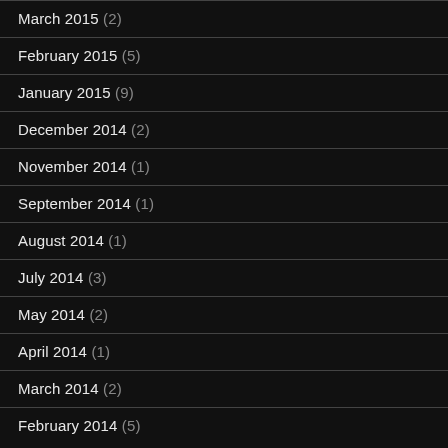March 2015 (2)
February 2015 (5)
January 2015 (9)
December 2014 (2)
November 2014 (1)
September 2014 (1)
August 2014 (1)
July 2014 (3)
May 2014 (2)
April 2014 (1)
March 2014 (2)
February 2014 (5)